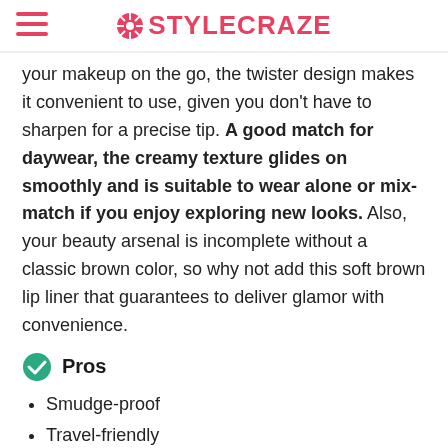STYLECRAZE
your makeup on the go, the twister design makes it convenient to use, given you don't have to sharpen for a precise tip. A good match for daywear, the creamy texture glides on smoothly and is suitable to wear alone or mix-match if you enjoy exploring new looks. Also, your beauty arsenal is incomplete without a classic brown color, so why not add this soft brown lip liner that guarantees to deliver glamor with convenience.
Pros
Smudge-proof
Travel-friendly
Easy to use